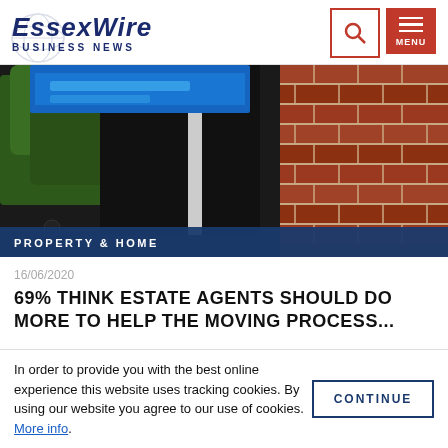ESSEXWIRE BUSINESS NEWS
[Figure (photo): Photo of an estate agent sign post in front of a brick wall and trees, with a blue banner overlay at the bottom reading PROPERTY & HOME]
PROPERTY & HOME
16/06/2020
69% THINK ESTATE AGENTS SHOULD DO MORE TO HELP THE MOVING PROCESS...
In order to provide you with the best online experience this website uses tracking cookies. By using our website you agree to our use of cookies. More info.